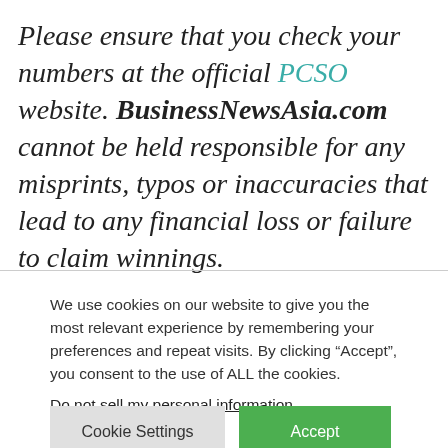Please ensure that you check your numbers at the official PCSO website. BusinessNewsAsia.com cannot be held responsible for any misprints, typos or inaccuracies that lead to any financial loss or failure to claim winnings.
We use cookies on our website to give you the most relevant experience by remembering your preferences and repeat visits. By clicking “Accept”, you consent to the use of ALL the cookies.
Do not sell my personal information.